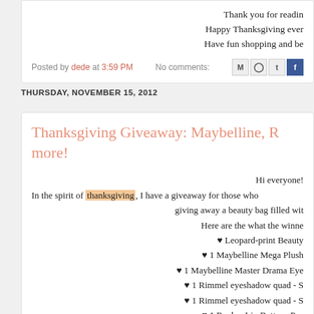Thank you for readin
Happy Thanksgiving ever
Have fun shopping and be
Posted by dede at 3:59 PM   No comments:
THURSDAY, NOVEMBER 15, 2012
Thanksgiving Giveaway: Maybelline, R more!
Hi everyone!
In the spirit of thanksgiving, I have a giveaway for those who giving away a beauty bag filled wit Here are the what the winne
♥ Leopard-print Beauty
♥ 1 Maybelline Mega Plush
♥ 1 Maybelline Master Drama Eye
♥ 1 Rimmel eyeshadow quad - S
♥ 1 Rimmel eyeshadow quad - S
♥ 1 Revlon Lip Butter - Pea